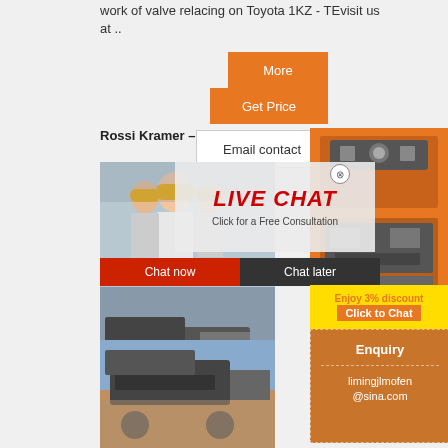work of valve relacing on Toyota 1KZ - TEvisit us at ..
More
Get Price
Rossi Kramer –
Email contact
[Figure (photo): Live chat overlay with workers in yellow hard hats, red LIVE CHAT text, subtitle 'Click for a Free Consultation', Chat now and Chat later buttons]
[Figure (photo): Machinery/crusher equipment on construction site]
[Figure (photo): Orange sidebar with mining/crushing machinery images]
Enjoy 3% discount
Click to Chat
Enquiry
limingjlmofen
@sina.com
[Figure (photo): Mobile crusher equipment on outdoor site, second image]